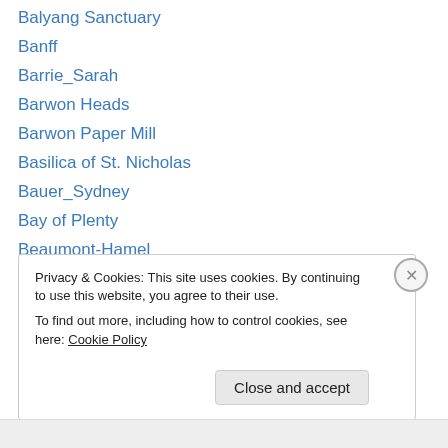Balyang Sanctuary
Banff
Barrie_Sarah
Barwon Heads
Barwon Paper Mill
Basilica of St. Nicholas
Bauer_Sydney
Bay of Plenty
Beaumont-Hamel
Beaune
Beck_Greig
Belgium
Belgium (2017)
Privacy & Cookies: This site uses cookies. By continuing to use this website, you agree to their use.
To find out more, including how to control cookies, see here: Cookie Policy
Close and accept